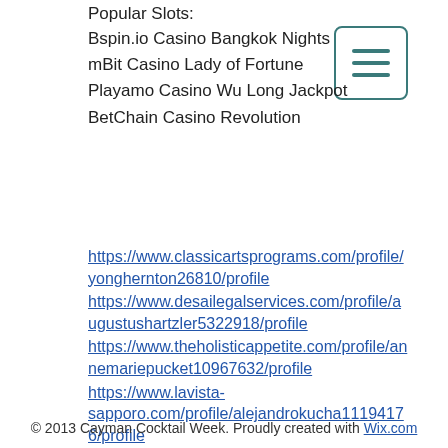Popular Slots:
Bspin.io Casino Bangkok Nights
mBit Casino Lady of Fortune
Playamo Casino Wu Long Jackpot
BetChain Casino Revolution
[Figure (other): Hamburger menu button icon with three horizontal lines inside a rounded rectangle border]
https://www.classicartsprograms.com/profile/yonghernton26810/profile
https://www.desailegalservices.com/profile/augustushartzler5322918/profile
https://www.theholisticappetite.com/profile/annemariepucket10967632/profile
https://www.lavista-sapporo.com/profile/alejandrokucha11194176/profile
© 2013 Cayman Cocktail Week. Proudly created with Wix.com